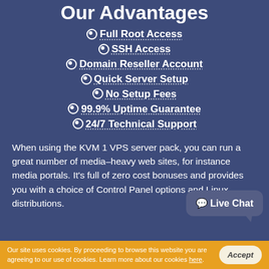Our Advantages
Full Root Access
SSH Access
Domain Reseller Account
Quick Server Setup
No Setup Fees
99.9% Uptime Guarantee
24/7 Technical Support
When using the KVM 1 VPS server pack, you can run a great number of media–heavy web sites, for instance media portals. It's full of zero cost bonuses and provides you with a choice of Control Panel options and Linux distributions.
Our site uses cookies. By proceeding to browse this website you are agreeing to our use of cookies. Learn more about our cookies here.